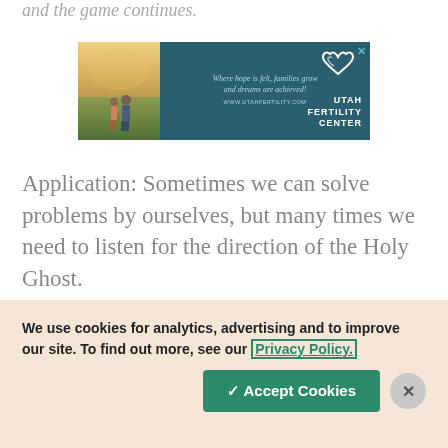and the game continues.
[Figure (illustration): Advertisement for Utah Fertility Center. Left half shows a photo of a couple standing in a field. Right half has teal/dark blue background with script tagline 'Where hope is felt, families grow and dreams are achieved!', website URL www.utahfertility.com, a heart logo icon, and bold text 'UTAH FERTILITY CENTER'. An X close button is in the top right corner.]
Application: Sometimes we can solve problems by ourselves, but many times we need to listen for the direction of the Holy Ghost.
We use cookies for analytics, advertising and to improve our site. To find out more, see our Privacy Policy.
✓ Accept Cookies